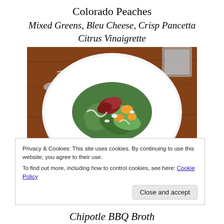Colorado Peaches
Mixed Greens, Bleu Cheese, Crisp Pancetta
Citrus Vinaigrette
[Figure (photo): A white plate with a salad of mixed greens, peaches, bleu cheese, and crisp pancetta on a wooden table with silverware and glasses in the background.]
Privacy & Cookies: This site uses cookies. By continuing to use this website, you agree to their use.
To find out more, including how to control cookies, see here: Cookie Policy
Chipotle BBQ Broth